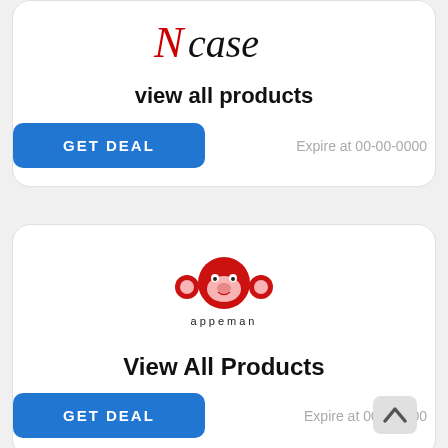[Figure (logo): Ncase brand logo with stylized italic text and red N]
view all products
GET DEAL
Expire at 00-00-0000
[Figure (logo): Appeman brand logo with red monkey face icon and appeman text below]
View All Products
GET DEAL
Expire at 00-00-000